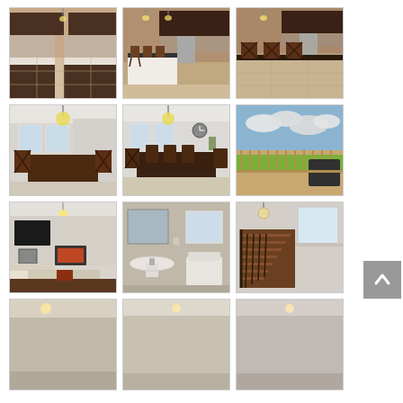[Figure (photo): Interior kitchen photo with dark cabinets and light floors]
[Figure (photo): Kitchen island with bar stools and dark cabinets]
[Figure (photo): Kitchen with breakfast bar stools, dark cabinets]
[Figure (photo): Dining room with chandelier and dark wood chairs]
[Figure (photo): Dining room wider view with chandelier and clock on wall]
[Figure (photo): Outdoor deck with wooden railing and backyard view]
[Figure (photo): Living room with fireplace, TV and light decor]
[Figure (photo): Bathroom with pedestal sink and toilet]
[Figure (photo): Overhead staircase view with dark wood railing]
[Figure (photo): Room with ceiling light, partial view]
[Figure (photo): Room interior partial view]
[Figure (photo): Room interior partial view with light grey walls]